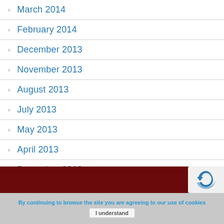March 2014
February 2014
December 2013
November 2013
August 2013
July 2013
May 2013
April 2013
December 2012
November 2012
October 2012
[Figure (logo): reCAPTCHA logo icon in a light box on dark red footer]
By continuing to browse the site you are agreeing to our use of cookies  I understand